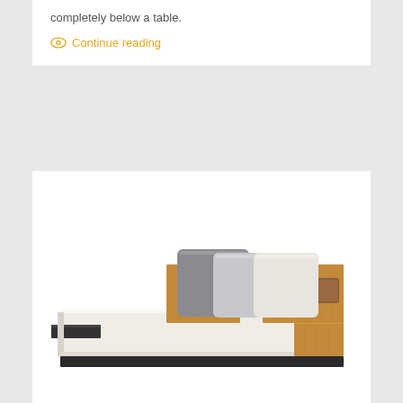completely below a table.
Continue reading
[Figure (photo): Modern minimalist sofa with a cream/white upholstered seat, wooden backrest panels in warm walnut tone, grey and white cushions, and a dark base platform. The sofa has a low-profile design with side table elements integrated into the wooden frame.]